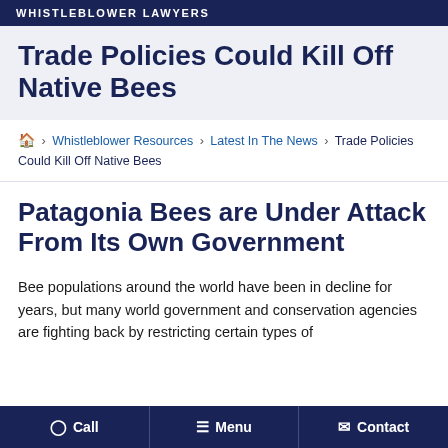WHISTLEBLOWER LAWYERS
Trade Policies Could Kill Off Native Bees
🏠 > Whistleblower Resources > Latest In The News > Trade Policies Could Kill Off Native Bees
Patagonia Bees are Under Attack From Its Own Government
Bee populations around the world have been in decline for years, but many world government and conservation agencies are fighting back by restricting certain types of
Call  Menu  Contact